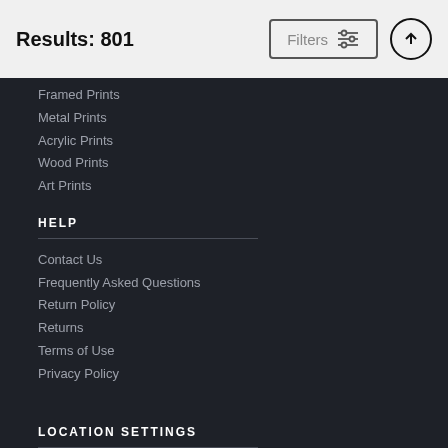Results: 801
Framed Prints
Metal Prints
Acrylic Prints
Wood Prints
Art Prints
HELP
Contact Us
Frequently Asked Questions
Return Policy
Returns
Terms of Use
Privacy Policy
LOCATION SETTINGS
Beverly Hills, CA (United States)
Currency: USD ($)
Units: Inches